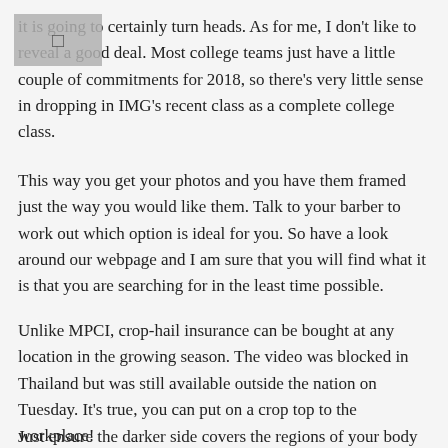it is going to certainly turn heads. As for me, I don't like to reveal a good deal. Most college teams just have a little couple of commitments for 2018, so there's very little sense in dropping in IMG's recent class as a complete college class.
This way you get your photos and you have them framed just the way you would like them. Talk to your barber to work out which option is ideal for you. So have a look around our webpage and I am sure that you will find what it is that you are searching for in the least time possible.
Unlike MPCI, crop-hail insurance can be bought at any location in the growing season. The video was blocked in Thailand but was still available outside the nation on Tuesday. It's true, you can put on a crop top to the workplace!
Just ensure the darker side covers the regions of your body you're